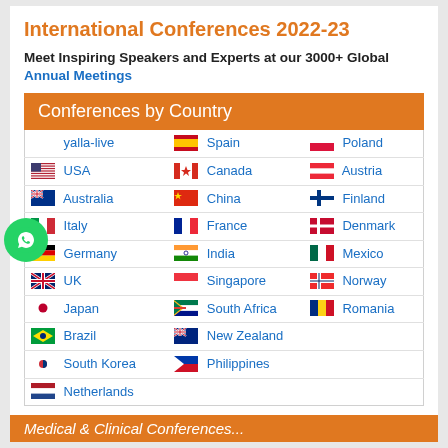International Conferences 2022-23
Meet Inspiring Speakers and Experts at our 3000+ Global Annual Meetings
Conferences by Country
| Country | Country | Country |
| --- | --- | --- |
| yalla-live | Spain | Poland |
| USA | Canada | Austria |
| Australia | China | Finland |
| Italy | France | Denmark |
| Germany | India | Mexico |
| UK | Singapore | Norway |
| Japan | South Africa | Romania |
| Brazil | New Zealand |  |
| South Korea | Philippines |  |
| Netherlands |  |  |
Medical & Clinical Conferences